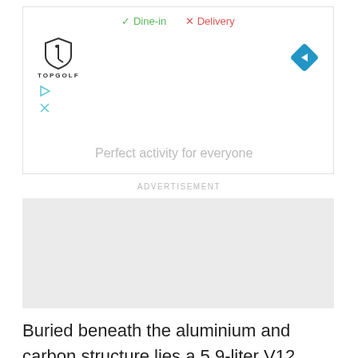[Figure (screenshot): Advertisement banner showing Topgolf logo with Dine-in checkmark and Delivery X icons at top, navigation arrow diamond icon on right, play and close icons on left, and partial tagline 'Perfect activity for everyone']
ADVERTISEMENT
[Figure (other): Gray advertisement placeholder block]
Buried beneath the aluminium and carbon structure lies a 5.9-liter V12 engine that created 450 brake horsepower and 400 pound-feet of torque, which in 2002 was sensational. The 48-valve 60-degree engine